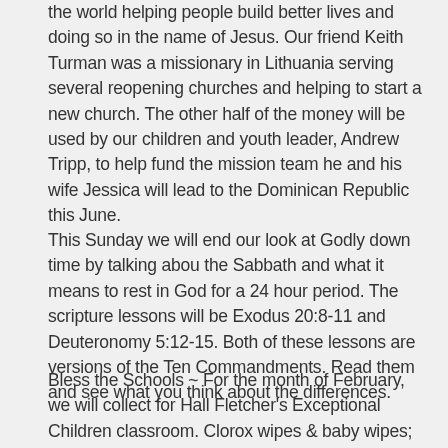the world helping people build better lives and doing so in the name of Jesus. Our friend Keith Turman was a missionary in Lithuania serving several reopening churches and helping to start a new church. The other half of the money will be used by our children and youth leader, Andrew Tripp, to help fund the mission team he and his wife Jessica will lead to the Dominican Republic this June.
This Sunday we will end our look at Godly down time by talking abou the Sabbath and what it means to rest in God for a 24 hour period. The scripture lessons will be Exodus 20:8-11 and Deuteronomy 5:12-15. Both of these lessons are versions of the Ten Commandments. Read them and see what you think about the differences.
Bless the Schools ~ For the month of February, we will collect for Hall Fletcher's Exceptional Children classroom. Clorox wipes & baby wipes; liquid detergent;